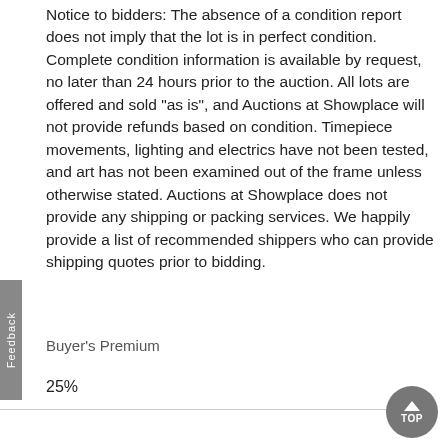Notice to bidders: The absence of a condition report does not imply that the lot is in perfect condition. Complete condition information is available by request, no later than 24 hours prior to the auction. All lots are offered and sold "as is", and Auctions at Showplace will not provide refunds based on condition. Timepiece movements, lighting and electrics have not been tested, and art has not been examined out of the frame unless otherwise stated. Auctions at Showplace does not provide any shipping or packing services. We happily provide a list of recommended shippers who can provide shipping quotes prior to bidding.
Buyer's Premium
25%